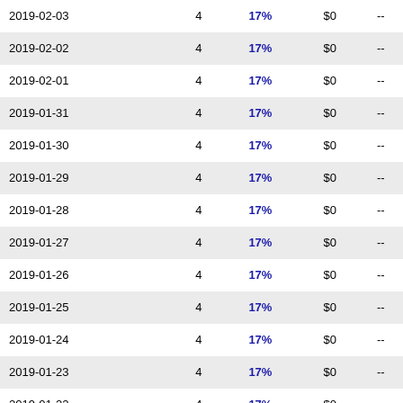| 2019-02-03 | 4 | 17% | $0 | -- |
| 2019-02-02 | 4 | 17% | $0 | -- |
| 2019-02-01 | 4 | 17% | $0 | -- |
| 2019-01-31 | 4 | 17% | $0 | -- |
| 2019-01-30 | 4 | 17% | $0 | -- |
| 2019-01-29 | 4 | 17% | $0 | -- |
| 2019-01-28 | 4 | 17% | $0 | -- |
| 2019-01-27 | 4 | 17% | $0 | -- |
| 2019-01-26 | 4 | 17% | $0 | -- |
| 2019-01-25 | 4 | 17% | $0 | -- |
| 2019-01-24 | 4 | 17% | $0 | -- |
| 2019-01-23 | 4 | 17% | $0 | -- |
| 2019-01-22 | 4 | 17% | $0 | -- |
| 2019-01-21 | 4 | 17% | $0 | -- |
| 2019-01-20 | 4 | 17% | $0 | -- |
| 2019-01-19 | 4 | 17% | $0 | -- |